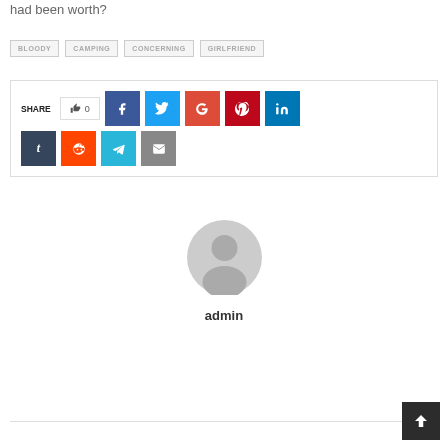had been worth?
BLOODY
CAMPING
CONCERNING
GIRLFRIEND
[Figure (screenshot): Social share buttons section with SHARE label, like button showing 0 likes, and social media icons for Facebook, Twitter, Google+, Pinterest, LinkedIn, Tumblr, Reddit, Telegram, and Email]
[Figure (illustration): Gray default user avatar icon (circular silhouette of person)]
admin